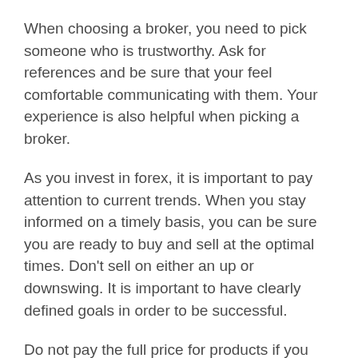When choosing a broker, you need to pick someone who is trustworthy. Ask for references and be sure that your feel comfortable communicating with them. Your experience is also helpful when picking a broker.
As you invest in forex, it is important to pay attention to current trends. When you stay informed on a timely basis, you can be sure you are ready to buy and sell at the optimal times. Don't sell on either an up or downswing. It is important to have clearly defined goals in order to be successful.
Do not pay the full price for products if you are looking for ways to cut your expenses. You might want to change from the usual brands you buy and only get them when you have a money off coupon. If your family usually uses Tide, for instance, but you have a good coupon for Gain, choose the less expensive option and pocket the savings.